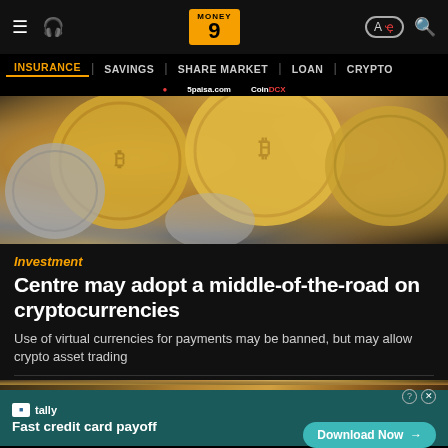Money9 — INSURANCE | SAVINGS | SHARE MARKET | LOAN | CRYPTO
[Figure (photo): Gold and silver cryptocurrency coins arranged on a dark surface, filling the hero image area]
Investment
Centre may adopt a middle-of-the-road on cryptocurrencies
Use of virtual currencies for payments may be banned, but may allow crypto asset trading
[Figure (photo): Gold bars and currency notes partially visible, blurred background, financial assets]
[Figure (other): Tally advertisement banner: Fast credit card payoff — Download Now button]